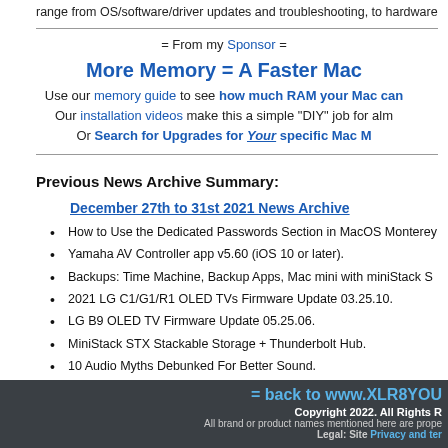range from OS/software/driver updates and troubleshooting, to hardware
= From my Sponsor =
More Memory = A Faster Mac
Use our memory guide to see how much RAM your Mac can
Our installation videos make this a simple "DIY" job for alm
Or Search for Upgrades for Your specific Mac M
Previous News Archive Summary:
December 27th to 31st 2021 News Archive
How to Use the Dedicated Passwords Section in MacOS Monterey
Yamaha AV Controller app v5.60 (iOS 10 or later).
Backups: Time Machine, Backup Apps, Mac mini with miniStack S
2021 LG C1/G1/R1 OLED TVs Firmware Update 03.25.10.
LG B9 OLED TV Firmware Update 05.25.06.
MiniStack STX Stackable Storage + Thunderbolt Hub.
10 Audio Myths Debunked For Better Sound.
Added GUI Equalizer Info to Onkyo RZ Receivers Tips & Tricks.
For links to older news pages, see the Archives.
= back to www.XLR8YOU
Copyright 2022. All Rights R
All brand or product names mentioned here are prope
Legal: Site Privacy and ter